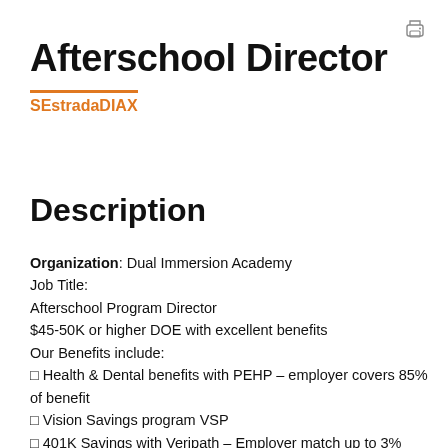[Figure (other): Printer icon in top-right corner]
Afterschool Director
SEstradaDIAX
Description
Organization: Dual Immersion Academy
Job Title:
Afterschool Program Director
$45-50K or higher DOE with excellent benefits
Our Benefits include:
☐ Health & Dental benefits with PEHP – employer covers 85% of benefit
☐ Vision Savings program VSP
☐ 401K Savings with Veripath – Employer match up to 3%